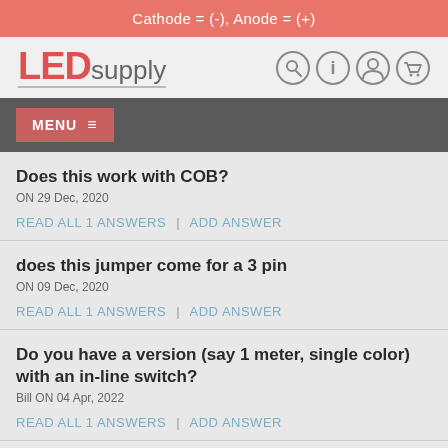Cathode = (-), Anode = (+)
[Figure (logo): LEDsupply logo with search, info, account, and cart icons]
MENU
Does this work with COB?
ON 29 Dec, 2020
READ ALL 1 ANSWERS | ADD ANSWER
does this jumper come for a 3 pin
ON 09 Dec, 2020
READ ALL 1 ANSWERS | ADD ANSWER
Do you have a version (say 1 meter, single color) with an in-line switch?
Bill ON 04 Apr, 2022
READ ALL 1 ANSWERS | ADD ANSWER